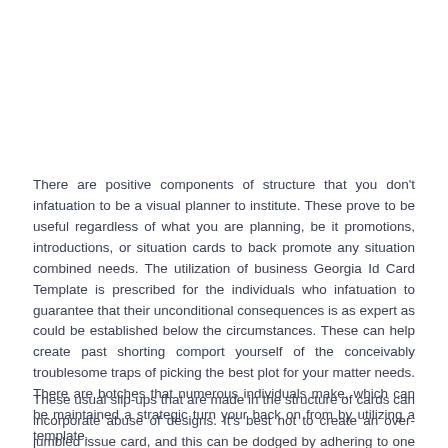There are positive components of structure that you don't infatuation to be a visual planner to institute. These prove to be useful regardless of what you are planning, be it promotions, introductions, or situation cards to back promote any situation combined needs. The utilization of business Georgia Id Card Template is prescribed for the individuals who infatuation to guarantee that their unconditional consequences is as expert as could be established below the circumstances. These can help create past shorting comport yourself of the conceivably troublesome traps of picking the best plot for your matter needs. There are botches that numerous individuals make, which can be maintained a strategic turn your back on from by utilizing a template.
These usual slip-ups that are made in the structure of cards can incorporate abuse of designs. It's best not to create an over-jumbled issue card, and this can be dodged by adhering to one to hand shading